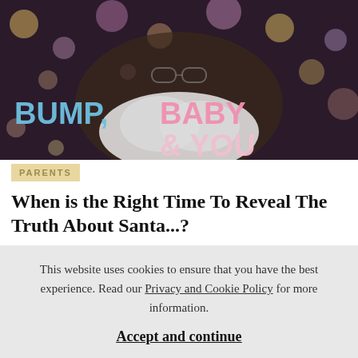[Figure (photo): Photo of a man with a white beard resembling Santa Claus, with colorful bokeh lights in the background. Text overlay reads 'BUMP, BABY & YOU' in large colorful letters (blue, pink, yellow).]
PARENTS
When is the Right Time To Reveal The Truth About Santa...?
Most parents would agree that breaking the news about Santa is one of the hardest parenting tasks of alll! Santa,
This website uses cookies to ensure that you have the best experience. Read our Privacy and Cookie Policy for more information.
Accept and continue